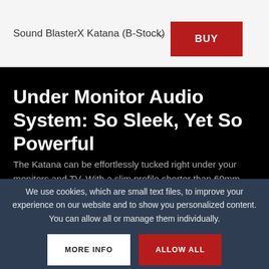Sound BlasterX Katana (B-Stock)
Under Monitor Audio System: So Sleek, Yet So Powerful
The Katana can be effortlessly tucked right under your monitors and TV. With a slim profile shorter than 60mm, this Under Monitor Audio System is drastically superior in form and function to ordinary “gaming
We use cookies, which are small text files, to improve your experience on our website and to show you personalized content. You can allow all or manage them individually.